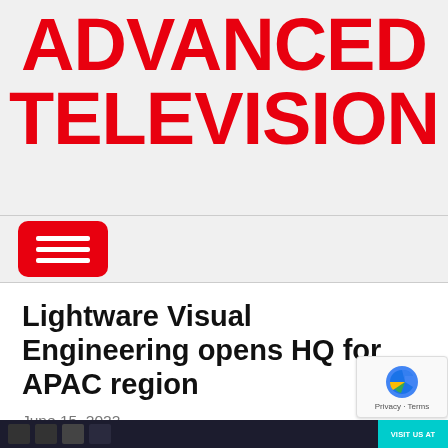ADVANCED TELEVISION
[Figure (other): Red hamburger/menu button icon on a light grey navigation bar]
Lightware Visual Engineering opens HQ for APAC region
June 15, 2022
[Figure (other): Bottom bar with dark background showing social media icons and a teal VISIT US AT badge]